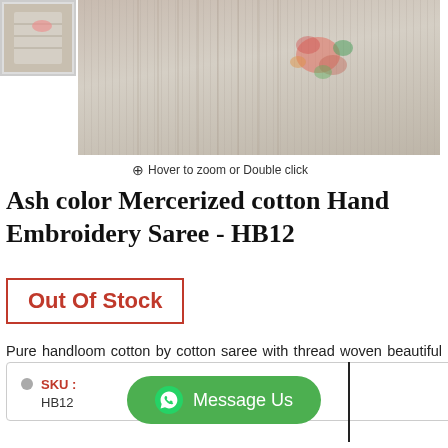[Figure (photo): Thumbnail image of ash color mercerized cotton hand embroidery saree]
[Figure (photo): Main product image of ash color saree with floral hand embroidery and thread woven border displayed hanging]
Hover to zoom or Double click
Ash color Mercerized cotton Hand Embroidery Saree - HB12
Out Of Stock
Pure handloom cotton by cotton saree with thread woven beautiful border. Body & Pallu section is having intricated hand embroidery work. ** Color – Ash Color ** Occasion – …[ Read More ]
SKU : HB12